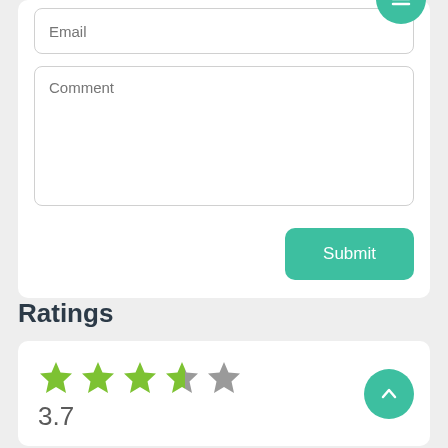Email
Comment
Submit
Ratings
[Figure (other): Star rating showing 3.7 out of 5 stars with 3 filled green stars, one half-filled star, and one empty star]
3.7